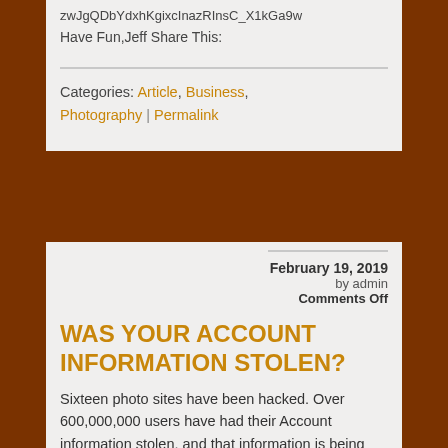zwJgQDbYdxhKgixcInazRInsC_X1kGa9w
Have Fun,Jeff Share This:
Categories: Article, Business, Photography | Permalink
February 19, 2019
by admin
Comments Off
WAS YOUR ACCOUNT INFORMATION STOLEN?
Sixteen photo sites have been hacked. Over 600,000,000 users have had their Account information stolen, and that information is being offered for sale on